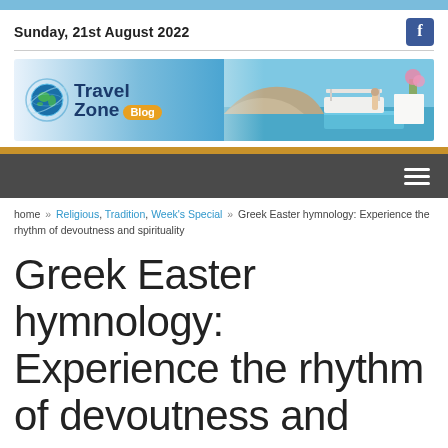Sunday, 21st August 2022
[Figure (logo): Travel Zone Blog logo with globe icon and banner photo of Mediterranean/Santorini-style scene]
home » Religious, Tradition, Week's Special » Greek Easter hymnology: Experience the rhythm of devoutness and spirituality
Greek Easter hymnology: Experience the rhythm of devoutness and